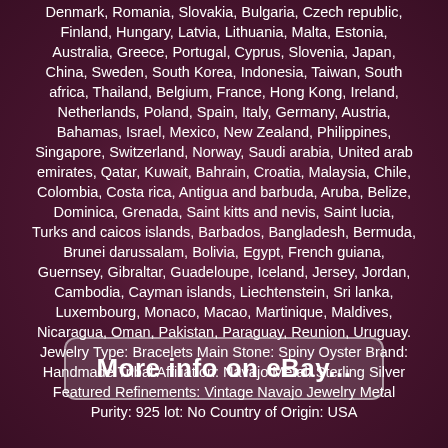Denmark, Romania, Slovakia, Bulgaria, Czech republic, Finland, Hungary, Latvia, Lithuania, Malta, Estonia, Australia, Greece, Portugal, Cyprus, Slovenia, Japan, China, Sweden, South Korea, Indonesia, Taiwan, South africa, Thailand, Belgium, France, Hong Kong, Ireland, Netherlands, Poland, Spain, Italy, Germany, Austria, Bahamas, Israel, Mexico, New Zealand, Philippines, Singapore, Switzerland, Norway, Saudi arabia, United arab emirates, Qatar, Kuwait, Bahrain, Croatia, Malaysia, Chile, Colombia, Costa rica, Antigua and barbuda, Aruba, Belize, Dominica, Grenada, Saint kitts and nevis, Saint lucia, Turks and caicos islands, Barbados, Bangladesh, Bermuda, Brunei darussalam, Bolivia, Egypt, French guiana, Guernsey, Gibraltar, Guadeloupe, Iceland, Jersey, Jordan, Cambodia, Cayman islands, Liechtenstein, Sri lanka, Luxembourg, Monaco, Macao, Martinique, Maldives, Nicaragua, Oman, Pakistan, Paraguay, Reunion, Uruguay. Jewelry Type: Bracelets Main Stone: Spiny Oyster Brand: Handmade Tribal Affiliation: Navajo Metal: Sterling Silver Featured Refinements: Vintage Navajo Jewelry Metal Purity: 925 lot: No Country of Origin: USA
[Figure (other): Button with text 'More info on eBay...' styled with rounded corners and white text on semi-transparent background]